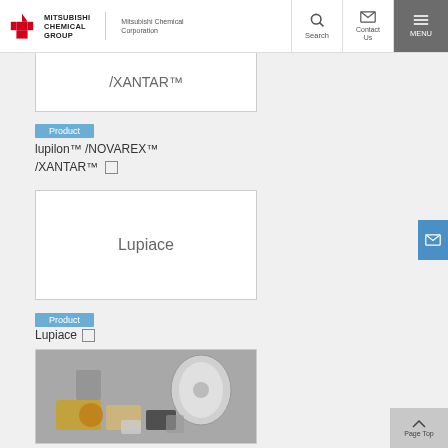MITSUBISHI CHEMICAL GROUP — Mitsubishi Chemical Corporation — Search | Contact Us | MENU
[Figure (screenshot): White card with text /XANTAR™]
/XANTAR™
Product
lupilon™ /NOVAREX™ /XANTAR™
[Figure (screenshot): White card with text Lupiace]
Lupiace
Product
Lupiace
[Figure (photo): Photo of packaging products including film roll and various packages]
Product
Bi-axially Oriented